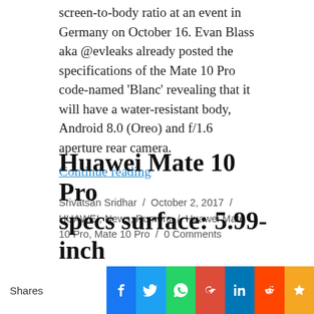screen-to-body ratio at an event in Germany on October 16. Evan Blass aka @evleaks already posted the specifications of the Mate 10 Pro code-named 'Blanc' revealing that it will have a water-resistant body, Android 8.0 (Oreo) and f/1.6 aperture rear camera.
Continue reading
Srivatsan Sridhar / October 2, 2017 / HUAWEI, News, Rumors / Huawei Mate 10 Pro, Mate 10 Pro / 0 Comments
Huawei Mate 10 Pro specs surface: 5.99-inch